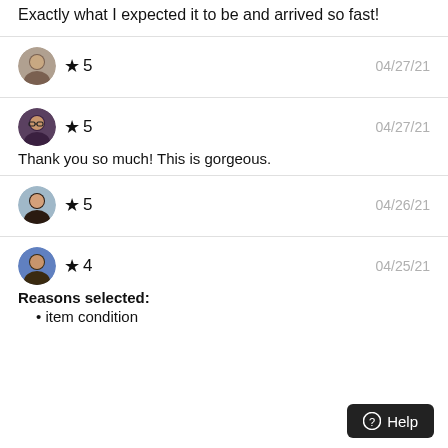Exactly what I expected it to be and arrived so fast!
★ 5   04/27/21
★ 5   04/27/21
Thank you so much! This is gorgeous.
★ 5   04/26/21
★ 4   04/25/21
Reasons selected:
• item condition